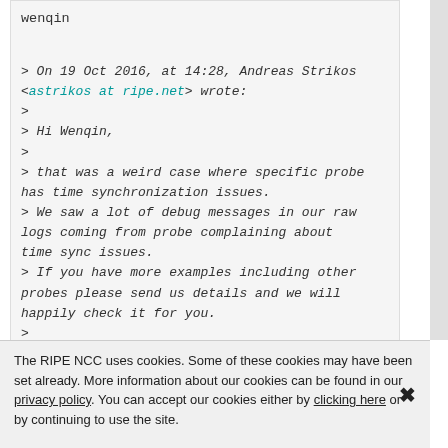wenqin
> On 19 Oct 2016, at 14:28, Andreas Strikos <astrikos at ripe.net> wrote:
>
> Hi Wenqin,
>
> that was a weird case where specific probe has time synchronization issues.
> We saw a lot of debug messages in our raw logs coming from probe complaining about time sync issues.
> If you have more examples including other probes please send us details and we will happily check it for you.
>
> Regards,
> Andreas
>
The RIPE NCC uses cookies. Some of these cookies may have been set already. More information about our cookies can be found in our privacy policy. You can accept our cookies either by clicking here or by continuing to use the site.